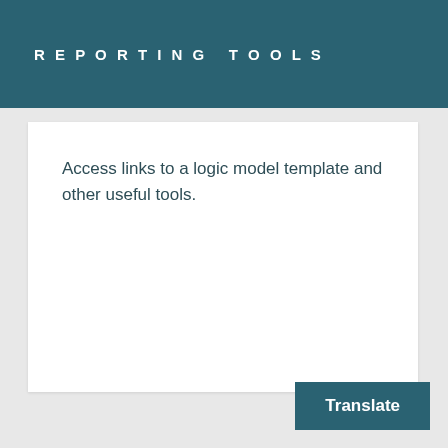REPORTING TOOLS
Access links to a logic model template and other useful tools.
Translate